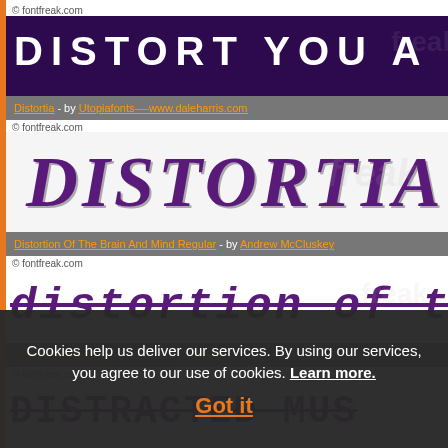© fontfreak.com
[Figure (illustration): Large banner image showing 'DISTORT YOU A LESS' in bold white distressed lettering on dark purple/black grunge background]
Distortia - by Utopiafonts-—www.daleharris.com
© fontfreak.com
[Figure (illustration): Font preview showing 'DISTORTIA' in distressed purple/dark serif lettering on white background]
Distortion Of The Brain And Mind Regular - by Andrew McCluskey
© fontfreak.com
[Figure (illustration): Font preview showing 'distortion of the brain and min' in bold italic purple serif font]
Distracted Musician - Freeware by Anke Art
© fontfreak.com
[Figure (illustration): Font preview showing 'DISTRACTED MUS' in bold purple outlined/strikethrough font]
Diversitia - Freeware by Manfred Klein
Cookies help us deliver our services. By using our services, you agree to our use of cookies. Learn more.
Got it